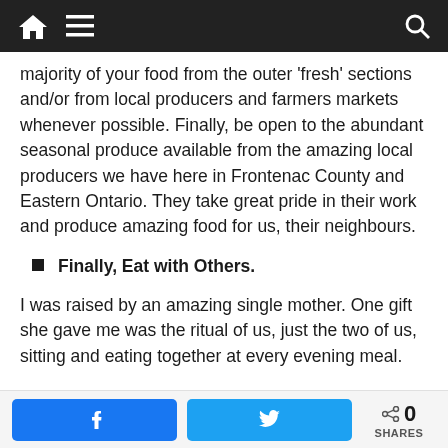Navigation bar with home, menu, and search icons
majority of your food from the outer ‘fresh’ sections and/or from local producers and farmers markets whenever possible. Finally, be open to the abundant seasonal produce available from the amazing local producers we have here in Frontenac County and Eastern Ontario. They take great pride in their work and produce amazing food for us, their neighbours.
Finally, Eat with Others.
I was raised by an amazing single mother. One gift she gave me was the ritual of us, just the two of us, sitting and eating together at every evening meal.
Facebook share button, Twitter share button, 0 SHARES